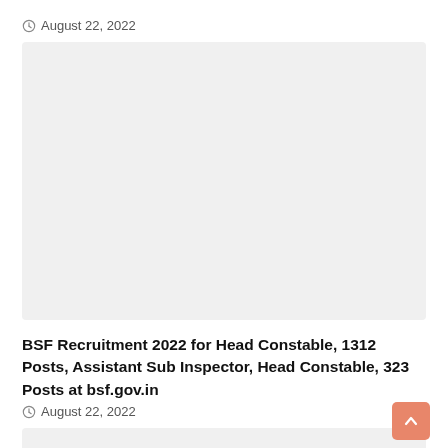August 22, 2022
[Figure (other): Placeholder image box (light gray rectangle)]
BSF Recruitment 2022 for Head Constable, 1312 Posts, Assistant Sub Inspector, Head Constable, 323 Posts at bsf.gov.in
August 22, 2022
[Figure (other): Partial placeholder image box at bottom of page]